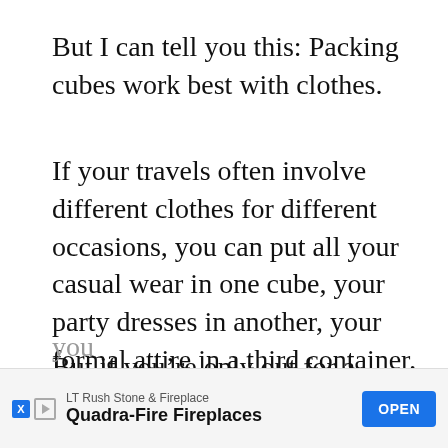But I can tell you this: Packing cubes work best with clothes.
If your travels often involve different clothes for different occasions, you can put all your casual wear in one cube, your party dresses in another, your formal attire in a third container, and so on.
But if you’re only out for a simple trip to the beach, you may want to use up to two packing cubes at most — one for you... you...
[Figure (screenshot): Advertisement banner: LT Rush Stone & Fireplace, Quadra-Fire Fireplaces, with OPEN button]